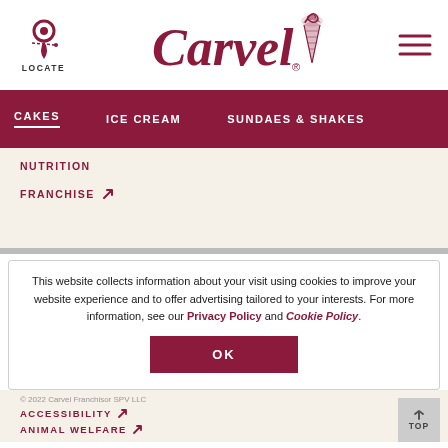[Figure (logo): Carvel ice cream brand logo with stylized script text and ice cream cone icon, location pin/LOCATE icon on left, hamburger menu icon on right]
CAKES   ICE CREAM   SUNDAES & SHAKES
NUTRITION
FRANCHISE ↗
This website collects information about your visit using cookies to improve your website experience and to offer advertising tailored to your interests. For more information, see our Privacy Policy and Cookie Policy.
OK
© 2022 Carvel Franchisor SPV LLC  ACCESSIBILITY ↗  ANIMAL WELFARE ↗